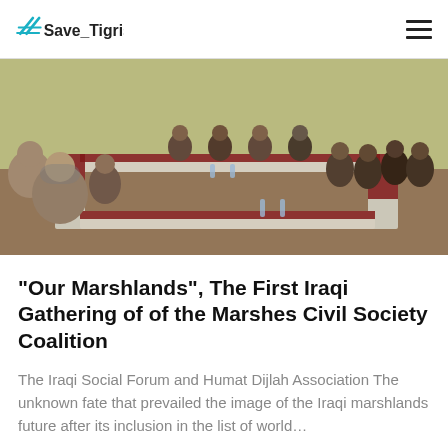#Save_Tigris
[Figure (photo): A group of people seated around conference tables in a U-shape arrangement in a room with yellow walls and red tablecloths, appearing to be at a formal meeting or gathering.]
“Our Marshlands”, The First Iraqi Gathering of of the Marshes Civil Society Coalition
The Iraqi Social Forum and Humat Dijlah Association The unknown fate that prevailed the image of the Iraqi marshlands future after its inclusion in the list of world…